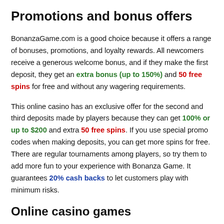Promotions and bonus offers
BonanzaGame.com is a good choice because it offers a range of bonuses, promotions, and loyalty rewards. All newcomers receive a generous welcome bonus, and if they make the first deposit, they get an extra bonus (up to 150%) and 50 free spins for free and without any wagering requirements.
This online casino has an exclusive offer for the second and third deposits made by players because they can get 100% or up to $200 and extra 50 free spins. If you use special promo codes when making deposits, you can get more spins for free. There are regular tournaments among players, so try them to add more fun to your experience with Bonanza Game. It guarantees 20% cash backs to let customers play with minimum risks.
Online casino games
BonanzaGame.com has a high rating because it's a perfect place to play both new and popular online casino games with progressive